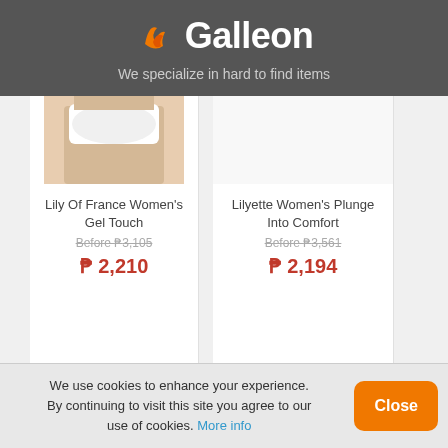Galleon - We specialize in hard to find items
[Figure (photo): Partial product image of a woman wearing a white bra, cropped at the torso]
Lily Of France Women's Gel Touch
Before ₱3,105
₱ 2,210
Lilyette Women's Plunge Into Comfort
Before ₱3,561
₱ 2,194
We use cookies to enhance your experience. By continuing to visit this site you agree to our use of cookies. More info